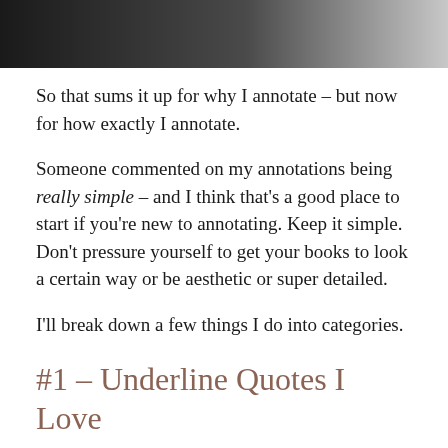[Figure (photo): Partial photo at top of page showing dark fabric or clothing on the left and light/white fabric on the right]
So that sums it up for why I annotate – but now for how exactly I annotate.
Someone commented on my annotations being really simple – and I think that's a good place to start if you're new to annotating. Keep it simple. Don't pressure yourself to get your books to look a certain way or be aesthetic or super detailed.
I'll break down a few things I do into categories.
#1 – Underline Quotes I Love